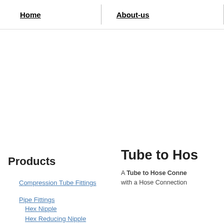Home   About-us
Products
Compression Tube Fittings
Pipe Fittings
Hex Nipple
Hex Reducing Nipple
Tube to Hos
A Tube to Hose Conne with a Hose Connection